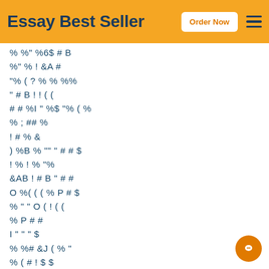Essay Best Seller | Order Now
% %" %6$ # B
%" % ! &A #
"% ( ? % % %%
" # B ! ! ( (
# # %I " %$ "% ( %
% ; ## %
! # % &
) %B % "" " # # $
! % ! % "% 
&AB ! # B " # #
O %( ( ( % P # $
% " " O ( ! ( (
% P # #
I " " " $
% %# &J ( % "
% ( # ! $ $
# "" % % $
% %&